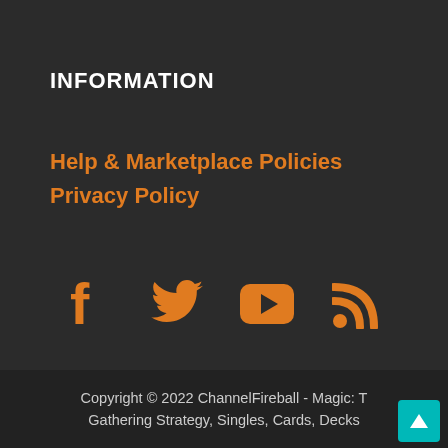INFORMATION
Help & Marketplace Policies
Privacy Policy
[Figure (infographic): Social media icons in orange: Facebook, Twitter, YouTube, RSS feed]
Copyright © 2022 ChannelFireball - Magic: The Gathering Strategy, Singles, Cards, Decks